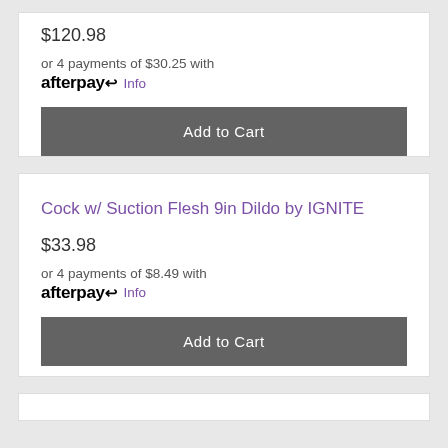$120.98
or 4 payments of $30.25 with afterpay Info
Add to Cart
Cock w/ Suction Flesh 9in Dildo by IGNITE
$33.98
or 4 payments of $8.49 with afterpay Info
Add to Cart